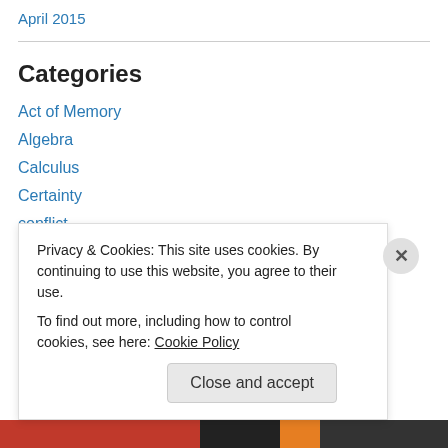April 2015
Categories
Act of Memory
Algebra
Calculus
Certainty
conflict
Consciousness
creativity
Dance
Distortion
Privacy & Cookies: This site uses cookies. By continuing to use this website, you agree to their use.
To find out more, including how to control cookies, see here: Cookie Policy
Close and accept